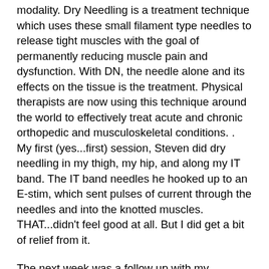modality.  Dry Needling is a treatment technique which uses these small filament type needles to release tight muscles with the goal of permanently reducing muscle pain and dysfunction.  With DN, the needle alone and its effects on the tissue is the treatment.  Physical therapists are now using this technique around the world to effectively treat acute and chronic orthopedic and musculoskeletal conditions.  .  My first (yes...first) session, Steven did dry needling in my thigh, my hip, and along my IT band.  The IT band needles he hooked up to an E-stim, which sent pulses of current through the needles and into the knotted muscles.  THAT...didn't feel good at all.  But I did get a bit of relief from it.
The next week was a follow up with my doctor...and as the pain was subsiding he told me to enjoy Boston and to get some running in.  Emily said the same thing, and before leaving that day, she put me on the treadmill to do